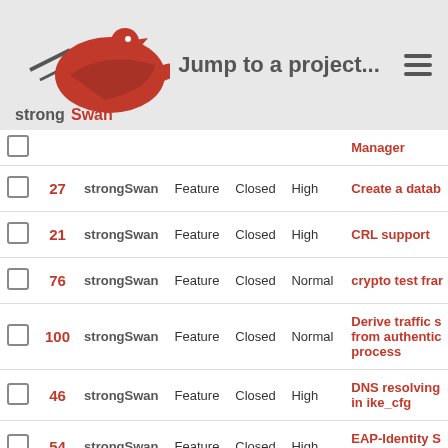strongSwan — Jump to a project...
|  | # | Project | Tracker | Status | Priority | Subject |
| --- | --- | --- | --- | --- | --- | --- |
|  |  |  |  |  |  | Manager |
|  | 27 | strongSwan | Feature | Closed | High | Create a datab... |
|  | 21 | strongSwan | Feature | Closed | High | CRL support |
|  | 76 | strongSwan | Feature | Closed | Normal | crypto test fra... |
|  | 100 | strongSwan | Feature | Closed | Normal | Derive traffic s... from authentic... process |
|  | 46 | strongSwan | Feature | Closed | High | DNS resolving in ike_cfg |
|  | 54 | strongSwan | Feature | Closed | High | EAP-Identity S... functionality |
|  | 16 | strongSwan | Feature | Closed | High | Generic plugin architecture |
|  | 37 | strongSwan | Feature | Closed | High | Hash and URL IKEv2 |
|  |  | strongSwan | Feature | Closed | High | Implement a m... |